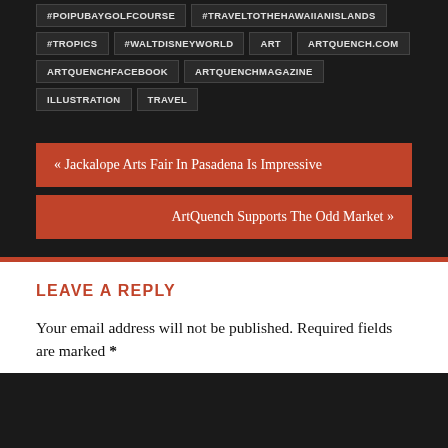#POIPUBAYGOLFCOURSE
#TRAVELTOTHEHAWAIIANISLANDS
#TROPICS
#WALTDISNEYWORLD
ART
ARTQUENCH.COM
ARTQUENCHFACEBOOK
ARTQUENCHMAGAZINE
ILLUSTRATION
TRAVEL
« Jackalope Arts Fair In Pasadena Is Impressive
ArtQuench Supports The Odd Market »
LEAVE A REPLY
Your email address will not be published. Required fields are marked *